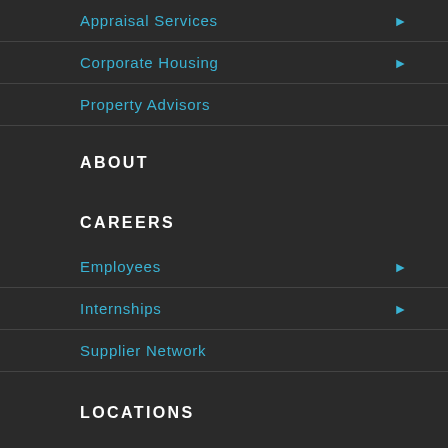Appraisal Services ▶
Corporate Housing ▶
Property Advisors
ABOUT
CAREERS
Employees ▶
Internships ▶
Supplier Network
LOCATIONS
Canada
China
Costa Rica